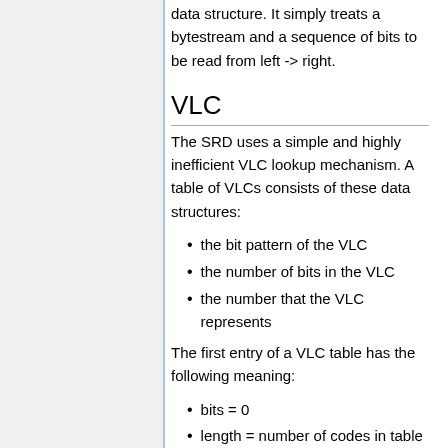data structure. It simply treats a bytestream and a sequence of bits to be read from left -> right.
VLC
The SRD uses a simple and highly inefficient VLC lookup mechanism. A table of VLCs consists of these data structures:
the bit pattern of the VLC
the number of bits in the VLC
the number that the VLC represents
The first entry of a VLC table has the following meaning:
bits = 0
length = number of codes in table
maximun VLC code length
The SRD's VLC reading function